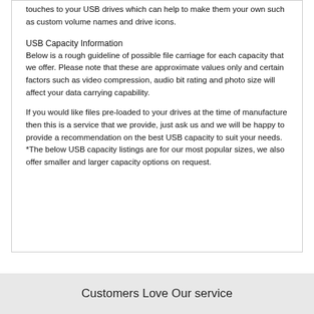touches to your USB drives which can help to make them your own such as custom volume names and drive icons.
USB Capacity Information
Below is a rough guideline of possible file carriage for each capacity that we offer. Please note that these are approximate values only and certain factors such as video compression, audio bit rating and photo size will affect your data carrying capability.
If you would like files pre-loaded to your drives at the time of manufacture then this is a service that we provide, just ask us and we will be happy to provide a recommendation on the best USB capacity to suit your needs. *The below USB capacity listings are for our most popular sizes, we also offer smaller and larger capacity options on request.
Customers Love Our service